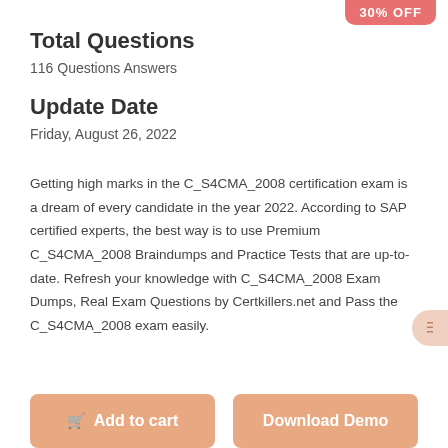[Figure (other): Red/pink badge with '30% OFF' text in top right corner]
Total Questions
116 Questions Answers
Update Date
Friday, August 26, 2022
Getting high marks in the C_S4CMA_2008 certification exam is a dream of every candidate in the year 2022. According to SAP certified experts, the best way is to use Premium C_S4CMA_2008 Braindumps and Practice Tests that are up-to-date. Refresh your knowledge with C_S4CMA_2008 Exam Dumps, Real Exam Questions by Certkillers.net and Pass the C_S4CMA_2008 exam easily.
[Figure (other): Add to cart button (salmon/peach colored)]
[Figure (other): Download Demo button (salmon/peach colored)]